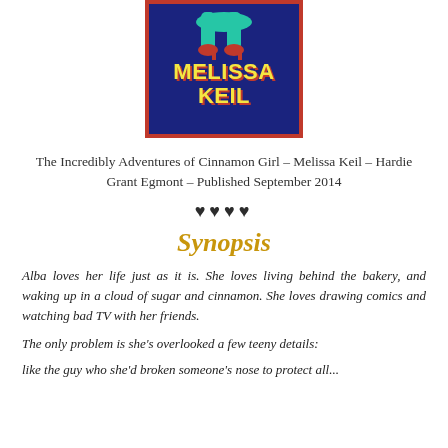[Figure (illustration): Book cover for 'The Incredibly Adventures of Cinnamon Girl' by Melissa Keil. Dark navy blue background with red border, yellow bold text reading 'MELISSA KEIL', illustrated legs in teal pants and red heels visible at the top.]
The Incredibly Adventures of Cinnamon Girl – Melissa Keil – Hardie Grant Egmont – Published September 2014
♥♥♥♥
Synopsis
Alba loves her life just as it is. She loves living behind the bakery, and waking up in a cloud of sugar and cinnamon. She loves drawing comics and watching bad TV with her friends.
The only problem is she's overlooked a few teeny details:
like the guy who she'd broken someone's nose to protect all...